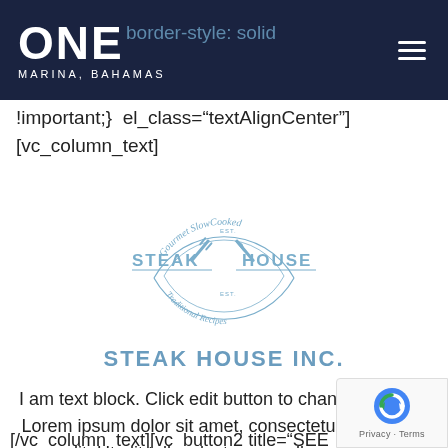ONE MARINA, BAHAMAS  border-style: solid
!important;} el_class="textAlignCenter"] [vc_column_text]
[Figure (logo): Steak House logo: circular badge with 'Gourmet SlowCooked' at top, crossed fork and knife in center, 'STEAK HOUSE' text on sides, 'Traditional Recipes' at bottom, light blue color scheme]
STEAK HOUSE INC.
I am text block. Click edit button to change this text. Lorem ipsum dolor sit amet, consectetur adipiscing elit. Ut elit tellus, luctus nec ullamcorper.
[/vc_column_text][vc_button2 title="SEE